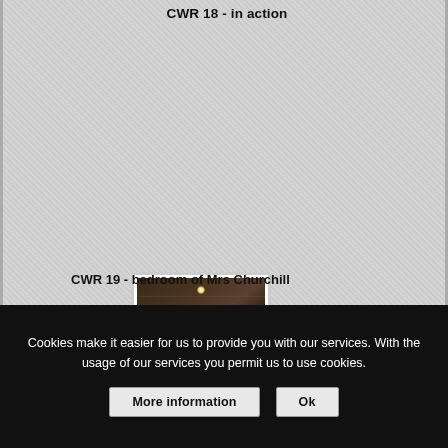CWR 18 - in action
[Figure (photo): A dark bedroom photo showing a bed with dark red/maroon bedding, a lamp on a nightstand, and a bare light bulb overhead. The room is dimly lit.]
CWR 19 - bedroom of Mrs Churchill
Cookies make it easier for us to provide you with our services. With the usage of our services you permit us to use cookies.
More information
Ok